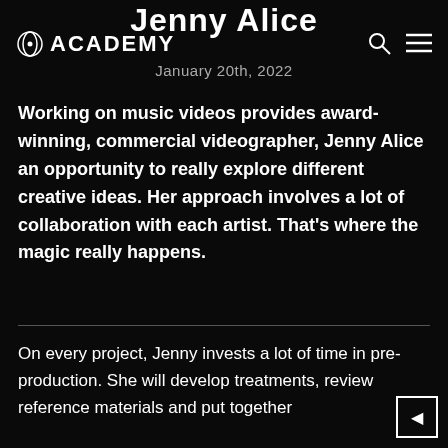Jenny Alice
ACADEMY
January 20th, 2022
Working on music videos provides award-winning, commercial videographer, Jenny Alice an opportunity to really explore different creative ideas. Her approach involves a lot of collaboration with each artist. That’s where the magic really happens.
On every project, Jenny invests a lot of time in pre-production. She will develop treatments, review reference materials and put together